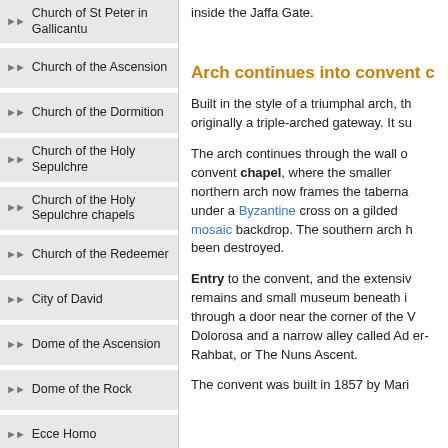Church of St Peter in Gallicantu
Church of the Ascension
Church of the Dormition
Church of the Holy Sepulchre
Church of the Holy Sepulchre chapels
Church of the Redeemer
City of David
Dome of the Ascension
Dome of the Rock
Ecce Homo
Garden Tomb
Gethsemane
inside the Jaffa Gate.
Arch continues into convent c
Built in the style of a triumphal arch, th originally a triple-arched gateway. It su
The arch continues through the wall o convent chapel, where the smaller northern arch now frames the taberna under a Byzantine cross on a gilded mosaic backdrop. The southern arch h been destroyed.
Entry to the convent, and the extensiv remains and small museum beneath i through a door near the corner of the V Dolorosa and a narrow alley called Ad er-Rahbat, or The Nuns Ascent.
The convent was built in 1857 by Mari